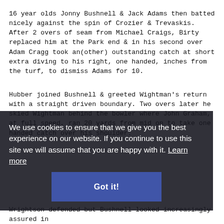16 year olds Jonny Bushnell & Jack Adams then batted nicely against the spin of Crozier & Trevaskis. After 2 overs of seam from Michael Craigs, Birty replaced him at the Park end & in his second over Adam Cragg took an(other) outstanding catch at short extra diving to his right, one handed, inches from the turf, to dismiss Adams for 10.
Hubber joined Bushnell & greeted Wightman's return with a straight driven boundary. Two overs later he skied Wightman behind the bowler where John Graham, at full speed, ran 20 yards from mid on to take one handed catch over his shoulder. Bustling Bushnell in his game assured of the patirnce to go to 50 from a wide that went to the boundary so all to entice the final quarter to avoid the umpires concern that the conditions were unfavourable for the batsmen & the umpires took no action. The light then got better.
Wrightson defended but Bushnell looked increasingly assured in